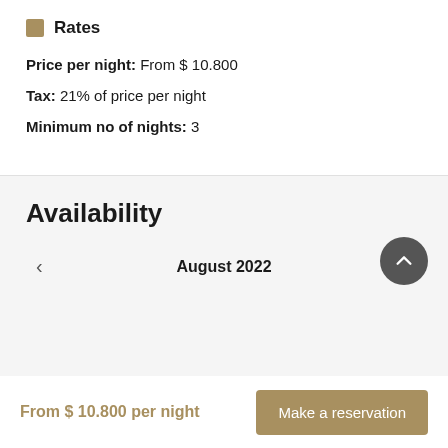Rates
Price per night: From $ 10.800
Tax: 21% of price per night
Minimum no of nights: 3
Availability
< August 2022 >
From $ 10.800 per night
Make a reservation